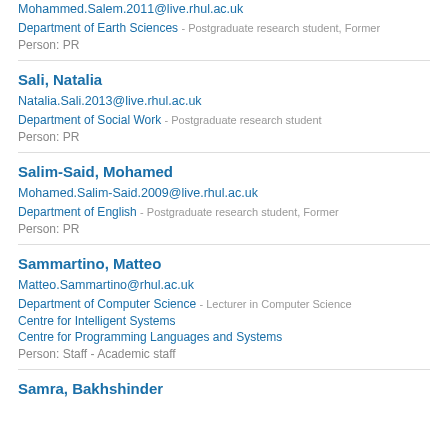Mohammed.Salem.2011@live.rhul.ac.uk
Department of Earth Sciences - Postgraduate research student, Former
Person: PR
Sali, Natalia
Natalia.Sali.2013@live.rhul.ac.uk
Department of Social Work - Postgraduate research student
Person: PR
Salim-Said, Mohamed
Mohamed.Salim-Said.2009@live.rhul.ac.uk
Department of English - Postgraduate research student, Former
Person: PR
Sammartino, Matteo
Matteo.Sammartino@rhul.ac.uk
Department of Computer Science - Lecturer in Computer Science
Centre for Intelligent Systems
Centre for Programming Languages and Systems
Person: Staff - Academic staff
Samra, Bakhshinder